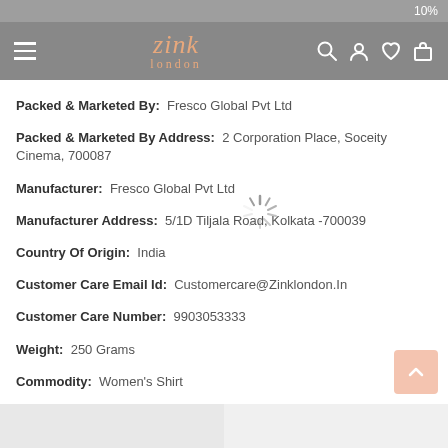10%
[Figure (logo): Zink London logo with hamburger menu and icons for search, account, wishlist, cart on grey navigation bar]
Packed & Marketed By: Fresco Global Pvt Ltd
Packed & Marketed By Address: 2 Corporation Place, Soceity Cinema, 700087
Manufacturer: Fresco Global Pvt Ltd
Manufacturer Address: 5/1D Tiljala Road, Kolkata -700039
Country Of Origin: India
Customer Care Email Id: Customercare@Zinklondon.In
Customer Care Number: 9903053333
Weight: 250 Grams
Commodity: Women's Shirt
RELATED PRODUCTS
[Figure (photo): Two product thumbnail images at the bottom of the page, partially visible]